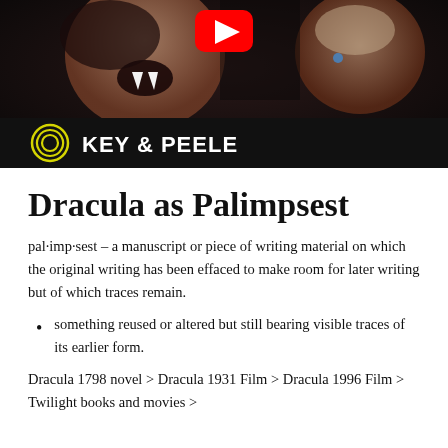[Figure (screenshot): YouTube video thumbnail showing Key & Peele with vampire imagery. Dark background with Comedy Central logo and 'KEY & PEELE' text at bottom. YouTube play button visible in center.]
Dracula as Palimpsest
pal·imp·sest – a manuscript or piece of writing material on which the original writing has been effaced to make room for later writing but of which traces remain.
something reused or altered but still bearing visible traces of its earlier form.
Dracula 1798 novel > Dracula 1931 Film > Dracula 1996 Film > Twilight books and movies >